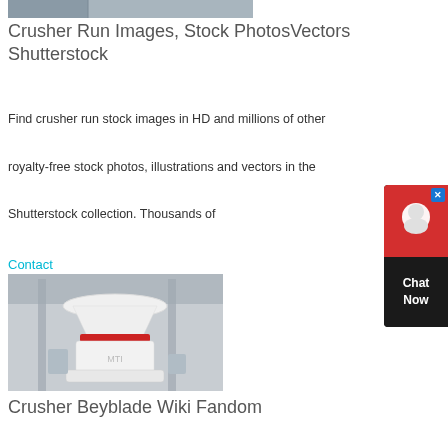[Figure (photo): Top portion of an industrial crusher machine in a factory setting]
Crusher Run Images, Stock PhotosVectors Shutterstock
Find crusher run stock images in HD and millions of other royalty-free stock photos, illustrations and vectors in the Shutterstock collection. Thousands of
Contact
[Figure (photo): Large white industrial cone crusher machine with a red stripe band in a factory/warehouse setting]
Crusher Beyblade Wiki Fandom
Crusher (クラッシャー Moses) is a character in the Original Series, consisting of Beyblade: G-Revolution. He is a member of the BEGA League. His Bit Beast and Beyblade is Cigars